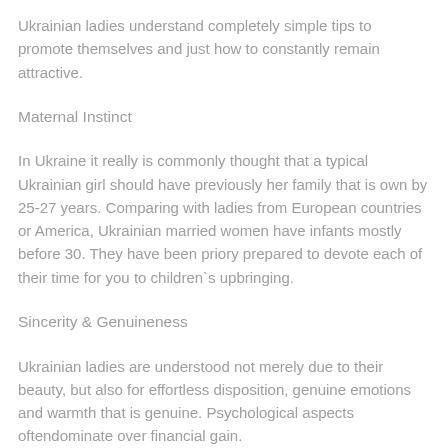Ukrainian ladies understand completely simple tips to promote themselves and just how to constantly remain attractive.
Maternal Instinct
In Ukraine it really is commonly thought that a typical Ukrainian girl should have previously her family that is own by 25-27 years. Comparing with ladies from European countries or America, Ukrainian married women have infants mostly before 30. They have been priory prepared to devote each of their time for you to children`s upbringing.
Sincerity & Genuineness
Ukrainian ladies are understood not merely due to their beauty, but also for effortless disposition, genuine emotions and warmth that is genuine. Psychological aspects oftendominate over financial gain.
Training
The greatest bulk of ladies from Ukraine is well-read with high rate training and more experience.